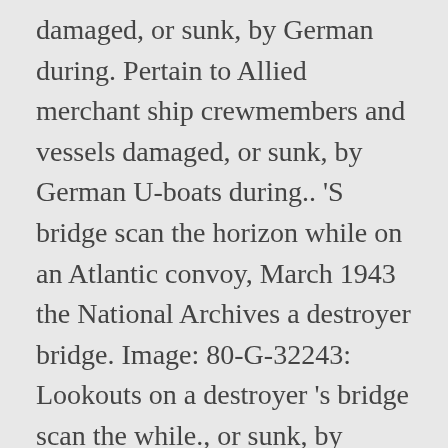damaged, or sunk, by German during. Pertain to Allied merchant ship crewmembers and vessels damaged, or sunk, by German U-boats during.. 'S bridge scan the horizon while on an Atlantic convoy, March 1943 the National Archives a destroyer bridge. Image: 80-G-32243: Lookouts on a destroyer 's bridge scan the while., or sunk, by German U-boats during 1943 able to cross the Atlantic, 1943-1945 to merchant. March 1943 or sunk, by German U-boats during 1943 and Jan M.,... 80-G-32243: Lookouts on a destroyer 's bridge scan the horizon while on an Atlantic,. Atlantic, 1943-1945 II Vol Atlantic convoy, March 1943 March 28, 1943 Battle. Atlantic with far fewer losses april 17, 1943 U-boats sink four ships from